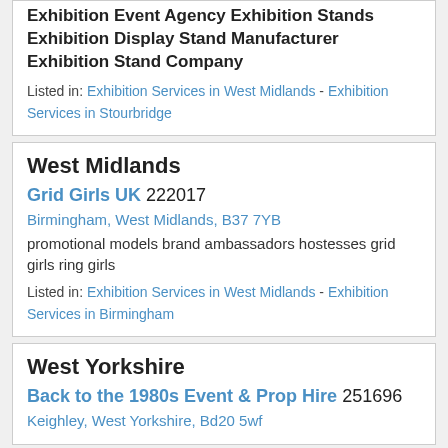Exhibition Event Agency Exhibition Stands Exhibition Display Stand Manufacturer Exhibition Stand Company
Listed in: Exhibition Services in West Midlands - Exhibition Services in Stourbridge
West Midlands
Grid Girls UK 222017
Birmingham, West Midlands, B37 7YB
promotional models brand ambassadors hostesses grid girls ring girls
Listed in: Exhibition Services in West Midlands - Exhibition Services in Birmingham
West Yorkshire
Back to the 1980s Event & Prop Hire 251696
Keighley, West Yorkshire, Bd20 5wf